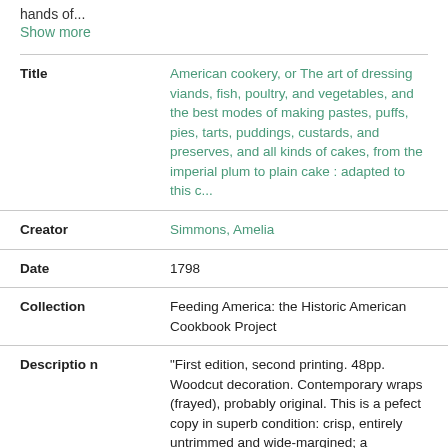hands of...
Show more
| Field | Value |
| --- | --- |
| Title | American cookery, or The art of dressing viands, fish, poultry, and vegetables, and the best modes of making pastes, puffs, pies, tarts, puddings, custards, and preserves, and all kinds of cakes, from the imperial plum to plain cake : adapted to this c... |
| Creator | Simmons, Amelia |
| Date | 1798 |
| Collection | Feeding America: the Historic American Cookbook Project |
| Description | "First edition, second printing. 48pp. Woodcut decoration. Contemporary wraps (frayed), probably original. This is a pefect copy in superb condition: crisp, entirely untrimmed and wide-margined; a |